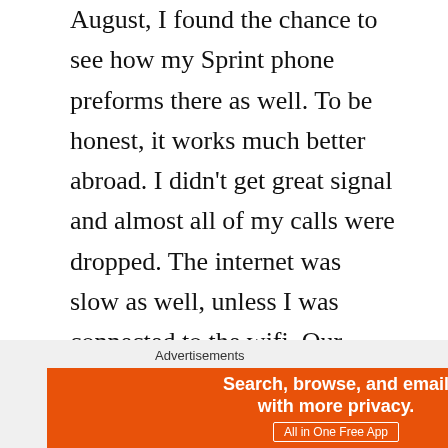August, I found the chance to see how my Sprint phone preforms there as well. To be honest, it works much better abroad. I didn't get great signal and almost all of my calls were dropped. The internet was slow as well, unless I was connected to the wifi. Our sprint phones serve their purpose and work great while we're traveling. We spend more time in other countries these days so it's perfect for our needs. Whenever it's time for us to move back to the states, I'm not sure if we'll keep our sprint plans. However, it's super cheap so I can't complain too much!
Advertisements
[Figure (other): DuckDuckGo advertisement banner: orange section with text 'Search, browse, and email with more privacy. All in One Free App' and dark section with DuckDuckGo logo and name.]